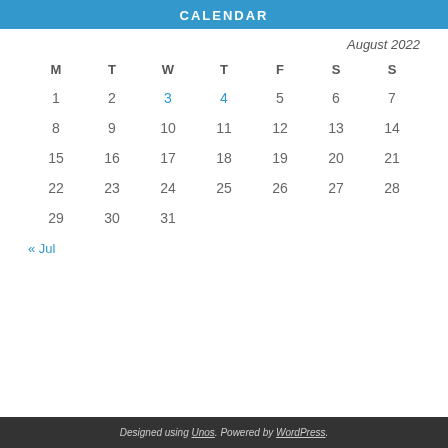CALENDAR
August 2022
| M | T | W | T | F | S | S |
| --- | --- | --- | --- | --- | --- | --- |
| 1 | 2 | 3 | 4 | 5 | 6 | 7 |
| 8 | 9 | 10 | 11 | 12 | 13 | 14 |
| 15 | 16 | 17 | 18 | 19 | 20 | 21 |
| 22 | 23 | 24 | 25 | 26 | 27 | 28 |
| 29 | 30 | 31 |  |  |  |  |
« Jul
Designed using Unos. Powered by WordPress.